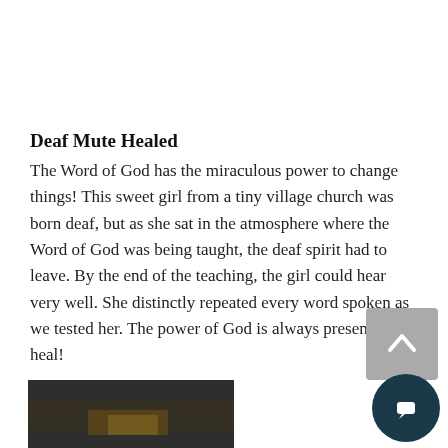Deaf Mute Healed
The Word of God has the miraculous power to change things! This sweet girl from a tiny village church was born deaf, but as she sat in the atmosphere where the Word of God was being taught, the deaf spirit had to leave. By the end of the teaching, the girl could hear very well. She distinctly repeated every word spoken as we tested her. The power of God is always present to heal!
[Figure (photo): Partial photo visible at bottom of page, dark tones suggesting an indoor or dimly lit scene]